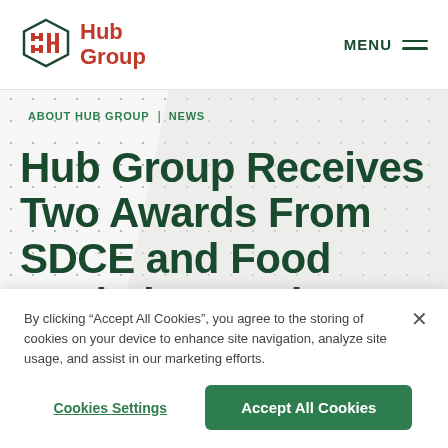[Figure (logo): Hub Group hexagonal logo with red icon and red 'Hub Group' text]
MENU
ABOUT HUB GROUP | NEWS
Hub Group Receives Two Awards From SDCE and Food Logistics to Close Out
By clicking “Accept All Cookies”, you agree to the storing of cookies on your device to enhance site navigation, analyze site usage, and assist in our marketing efforts.
Cookies Settings
Accept All Cookies